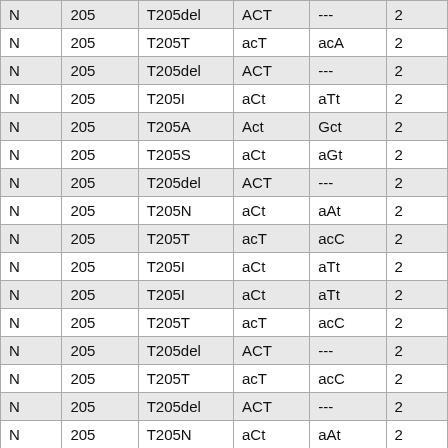| N | 205 | T205del | ACT | --- | 2 |
| N | 205 | T205T | acT | acA | 2 |
| N | 205 | T205del | ACT | --- | 2 |
| N | 205 | T205I | aCt | aTt | 2 |
| N | 205 | T205A | Act | Gct | 2 |
| N | 205 | T205S | aCt | aGt | 2 |
| N | 205 | T205del | ACT | --- | 2 |
| N | 205 | T205N | aCt | aAt | 2 |
| N | 205 | T205T | acT | acC | 2 |
| N | 205 | T205I | aCt | aTt | 2 |
| N | 205 | T205I | aCt | aTt | 2 |
| N | 205 | T205T | acT | acC | 2 |
| N | 205 | T205del | ACT | --- | 2 |
| N | 205 | T205T | acT | acC | 2 |
| N | 205 | T205del | ACT | --- | 2 |
| N | 205 | T205N | aCt | aAt | 2 |
| N | 205 | T205S | aCt | aCt | 2 |